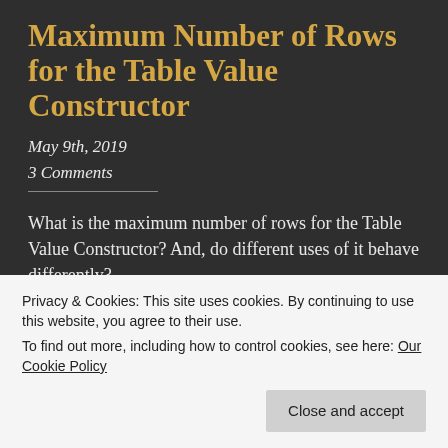Maximum Number of Rows for the Table Value Constructor
May 9th, 2019
3 Comments
What is the maximum number of rows for the Table Value Constructor? And, do different uses of it behave differently?
Share this awesome post:
Privacy & Cookies: This site uses cookies. By continuing to use this website, you agree to their use.
To find out more, including how to control cookies, see here: Our Cookie Policy